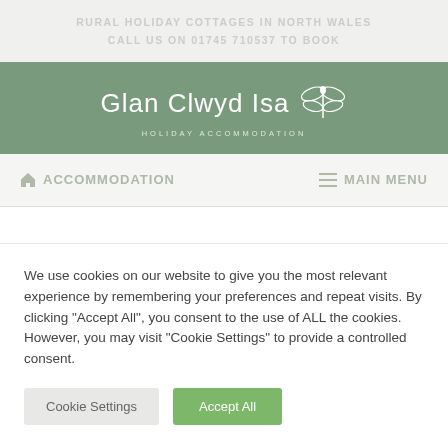RURAL HOLIDAY COTTAGES IN NORTH WALES
CALL US ON 01745 710537 TO BOOK
Glan Clwyd Isa
HOLIDAY ACCOMMODATION
Accommodation   Main Menu
We use cookies on our website to give you the most relevant experience by remembering your preferences and repeat visits. By clicking "Accept All", you consent to the use of ALL the cookies. However, you may visit "Cookie Settings" to provide a controlled consent.
Cookie Settings   Accept All